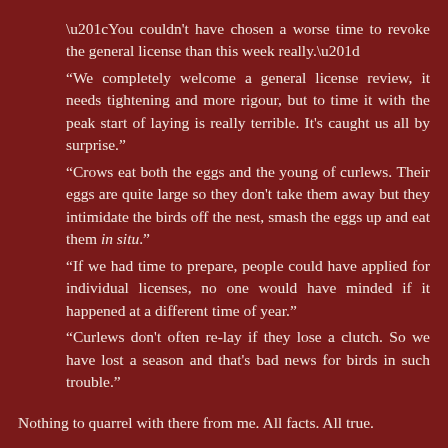“You couldn't have chosen a worse time to revoke the general license than this week really.”
“We completely welcome a general license review, it needs tightening and more rigour, but to time it with the peak start of laying is really terrible. It's caught us all by surprise.”
“Crows eat both the eggs and the young of curlews. Their eggs are quite large so they don't take them away but they intimidate the birds off the nest, smash the eggs up and eat them in situ.”
“If we had time to prepare, people could have applied for individual licenses, no one would have minded if it happened at a different time of year.”
“Curlews don't often re-lay if they lose a clutch. So we have lost a season and that's bad news for birds in such trouble.”
Nothing to quarrel with there from me. All facts. All true.